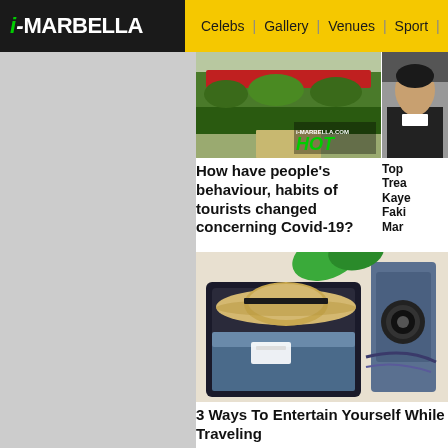[Figure (logo): i-MARBELLA logo: black background, green italic i, white dash and MARBELLA text]
Celebs | Gallery | Venues | Sport | Restau...
[Figure (photo): Garden/hedge with red flowers, HOT badge overlay with i-marbella.com text]
How have people's behaviour, habits of tourists changed concerning Covid-19?
[Figure (photo): Partial portrait photo of a person in dark clothing]
Top Trea... Kaye... Faki... Mar...
[Figure (photo): Open suitcase with travel items: straw hat, camera, laptop, clothes, accessories]
3 Ways To Entertain Yourself While Traveling